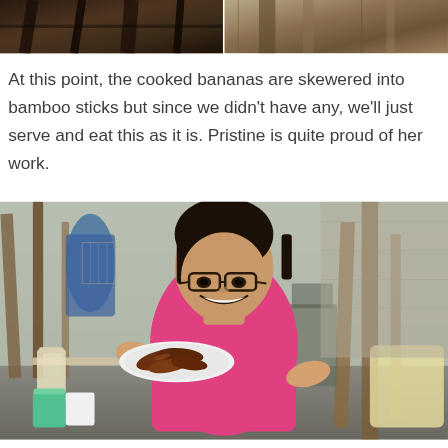[Figure (photo): Two photos side by side showing charred/burnt bamboo or wood on the left and wooden planks on the right]
At this point, the cooked bananas are skewered into bamboo sticks but since we didn't have any, we'll just serve and eat this as it is. Pristine is quite proud of her work.
[Figure (photo): A young girl wearing glasses and a pink shirt smiling and holding a white plate of cooked bananas, standing in a rustic outdoor setting with wooden planks and various containers visible in the background]